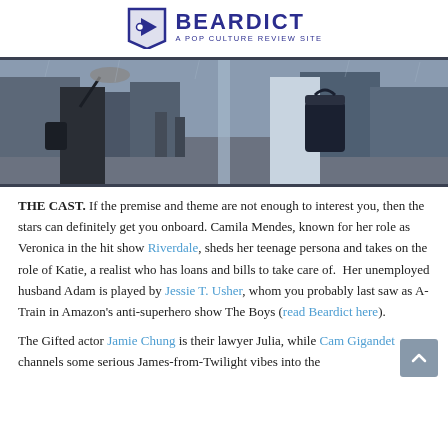BEARDICT — A POP CULTURE REVIEW SITE
[Figure (photo): Two people standing near a glass door in rainy urban setting; one person in dark clothes holding an umbrella on left, another in a light coat holding a dark handbag on right.]
THE CAST. If the premise and theme are not enough to interest you, then the stars can definitely get you onboard. Camila Mendes, known for her role as Veronica in the hit show Riverdale, sheds her teenage persona and takes on the role of Katie, a realist who has loans and bills to take care of. Her unemployed husband Adam is played by Jessie T. Usher, whom you probably last saw as A-Train in Amazon's anti-superhero show The Boys (read Beardict here).
The Gifted actor Jamie Chung is their lawyer Julia, while Cam Gigandet channels some serious James-from-Twilight vibes into the